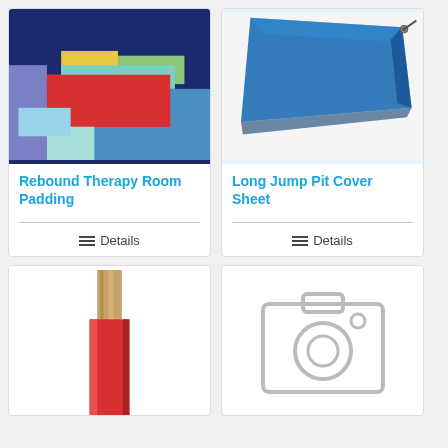[Figure (photo): Colorful soft play therapy room padding with steps in blue, teal, red, yellow and green colors]
Rebound Therapy Room Padding
Details
[Figure (photo): Blue long jump pit cover sheet folded/laid flat]
Long Jump Pit Cover Sheet
Details
[Figure (photo): Red padded post/pole protector with wooden post visible at top]
[Figure (photo): Gray camera placeholder image indicating no photo available]